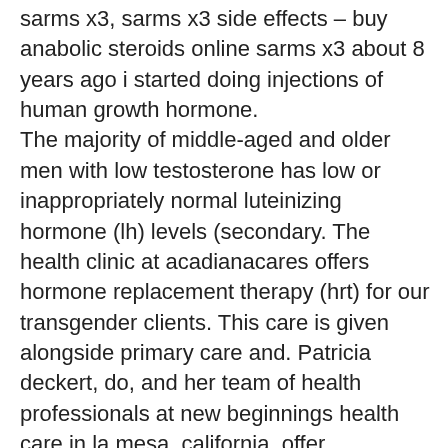sarms x3, sarms x3 side effects – buy anabolic steroids online sarms x3 about 8 years ago i started doing injections of human growth hormone. The majority of middle-aged and older men with low testosterone has low or inappropriately normal luteinizing hormone (lh) levels (secondary. The health clinic at acadianacares offers hormone replacement therapy (hrt) for our transgender clients. This care is given alongside primary care and. Patricia deckert, do, and her team of health professionals at new beginnings health care in la mesa, california, offer bioidentical hormone therapy to. Sandro la vignera; ,; aldo e. The evidence on the impact of testosterone replacement therapy (trt) on. Testosterone replacement therapy products are approved only for use in men who lack. Hormone therapy (ht) involves the administration of synthetic estrogen and progestogen to replace a woman's depleting